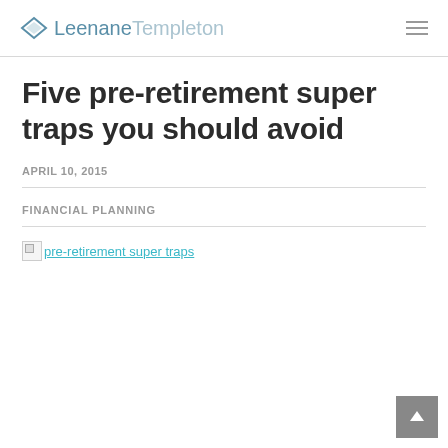LeenaneTempleton
Five pre-retirement super traps you should avoid
APRIL 10, 2015
FINANCIAL PLANNING
[Figure (photo): Broken image placeholder with alt text 'pre-retirement super traps']